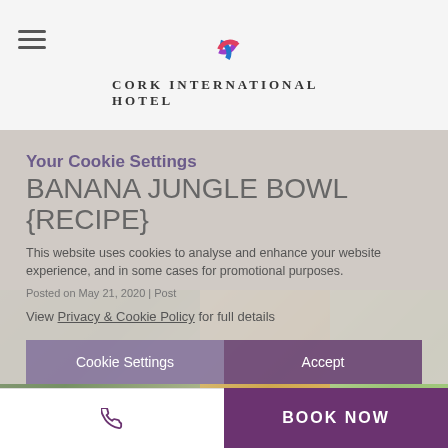[Figure (logo): Cork International Hotel logo with colorful circular icon and hotel name in small caps]
BANANA JUNGLE BOWL {RECIPE}
Your Cookie Settings
This website uses cookies to analyse and enhance your website experience, and in some cases for promotional purposes.
Posted on May 21, 2020 | Post
View Privacy & Cookie Policy for full details
[Figure (photo): Collage of smoothie bowls and drinks — green smoothie bowls, yellow drinks, berry bowls]
Cookie Settings
Accept
BOOK NOW